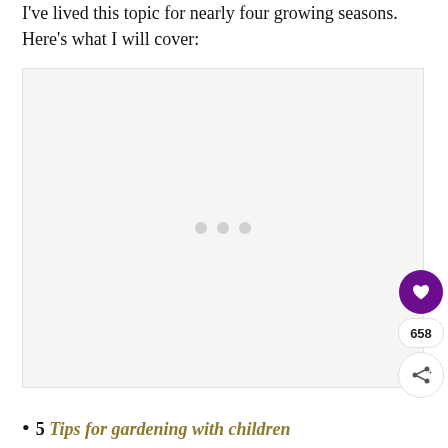I've lived this topic for nearly four growing seasons. Here's what I will cover:
[Figure (other): Advertisement placeholder box with three grey dots in the center]
5 Tips for gardening with children